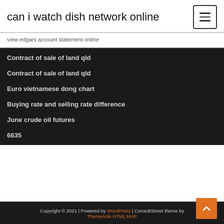can i watch dish network online
view edgars account statement online
Contract of sale of land qld
Contract of sale of land qld
Euro vietnamese dong chart
Buying rate and selling rate difference
June crude oil futures
6635
Copyright © 2021 | Powered by WordPress | ConsultStreet theme by ThemeArile HTML MAP